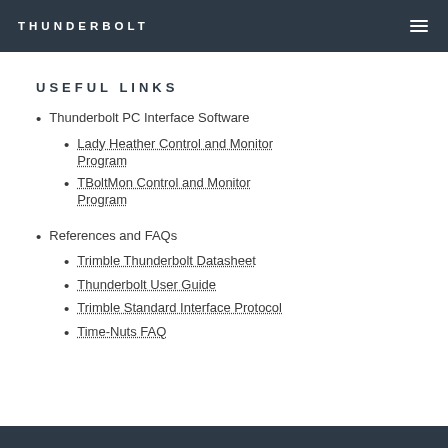THUNDERBOLT
USEFUL LINKS
Thunderbolt PC Interface Software
Lady Heather Control and Monitor Program
TBoltMon Control and Monitor Program
References and FAQs
Trimble Thunderbolt Datasheet
Thunderbolt User Guide
Trimble Standard Interface Protocol
Time-Nuts FAQ